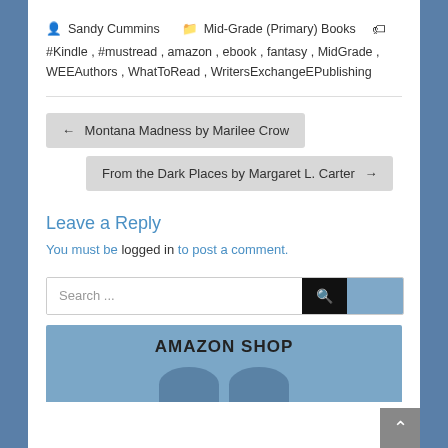Sandy Cummins   Mid-Grade (Primary) Books   #Kindle , #mustread , amazon , ebook , fantasy , MidGrade , WEEAuthors , WhatToRead , WritersExchangeEPublishing
← Montana Madness by Marilee Crow
From the Dark Places by Margaret L. Carter →
Leave a Reply
You must be logged in to post a comment.
Search ...
AMAZON SHOP